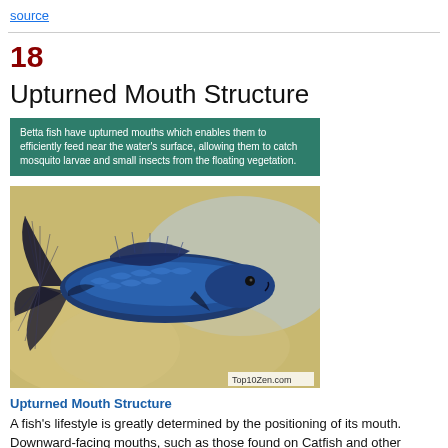source
18
Upturned Mouth Structure
[Figure (photo): A blue and black betta fish with large flowing fins photographed against a blurred background. Above the fish photo is a green overlay box with white text: 'Betta fish have upturned mouths which enables them to efficiently feed near the water's surface, allowing them to catch mosquito larvae and small insects from the floating vegetation.' A watermark reads 'Top10Zen.com'.]
Upturned Mouth Structure
A fish's lifestyle is greatly determined by the positioning of its mouth. Downward-facing mouths, such as those found on Catfish and other bottom-dwelling fish, enable them to feed near the ground, from sand, rock surfaces, etc.